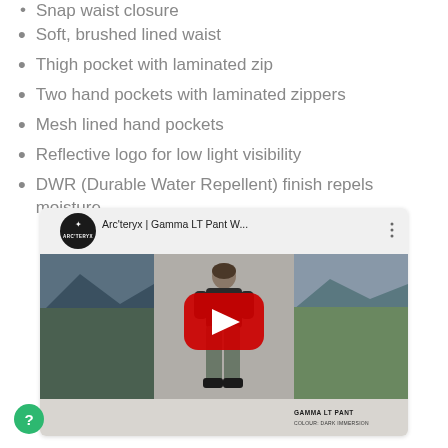Snap waist closure
Soft, brushed lined waist
Thigh pocket with laminated zip
Two hand pockets with laminated zippers
Mesh lined hand pockets
Reflective logo for low light visibility
DWR (Durable Water Repellent) finish repels moisture
[Figure (screenshot): YouTube video thumbnail for Arc'teryx | Gamma LT Pant W... showing a person wearing the pants, mountain scenery panels on left and right, a red YouTube play button in the center, and Arc'teryx logo in the top left. Text overlay reads GAMMA LT PANT, COLOUR: DARK IMMERSION.]